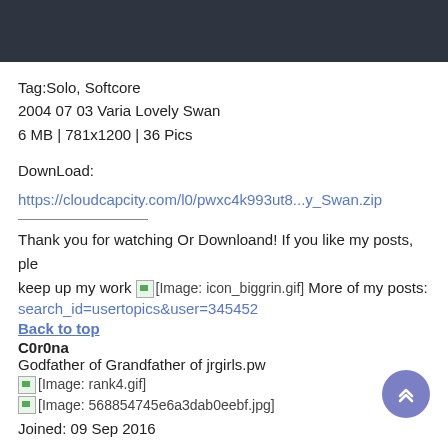Tag:Solo, Softcore
2004 07 03 Varia Lovely Swan
6 MB | 781x1200 | 36 Pics
DownLoad:
https://cloudcapcity.com/l0/pwxc4k993ut8...y_Swan.zip
Thank you for watching Or Downloand! If you like my posts, ple keep up my work [Image: icon_biggrin.gif] More of my posts: search_id=usertopics&user=345452
Back to top
C0r0na
Godfather of Grandfather of jrgirls.pw
[Image: rank4.gif]
[Image: 568854745e6a3dab0eebf.jpg]
Joined: 09 Sep 2016